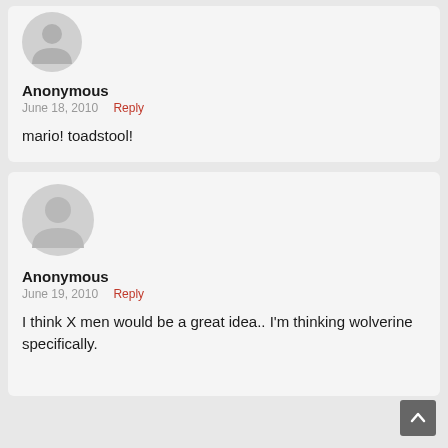[Figure (illustration): Generic grey avatar/profile placeholder icon for Anonymous user in first comment card]
Anonymous
June 18, 2010   Reply
mario! toadstool!
[Figure (illustration): Generic grey avatar/profile placeholder icon for Anonymous user in second comment card]
Anonymous
June 19, 2010   Reply
I think X men would be a great idea.. I'm thinking wolverine specifically.